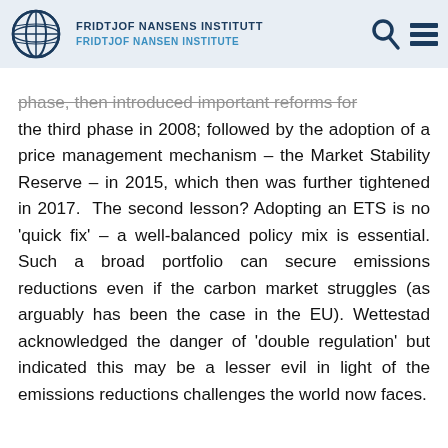FRIDTJOF NANSENS INSTITUTT FRIDTJOF NANSEN INSTITUTE
phase, then introduced important reforms for the third phase in 2008; followed by the adoption of a price management mechanism – the Market Stability Reserve – in 2015, which then was further tightened in 2017. The second lesson? Adopting an ETS is no 'quick fix' – a well-balanced policy mix is essential. Such a broad portfolio can secure emissions reductions even if the carbon market struggles (as arguably has been the case in the EU). Wettestad acknowledged the danger of 'double regulation' but indicated this may be a lesser evil in light of the emissions reductions challenges the world now faces.